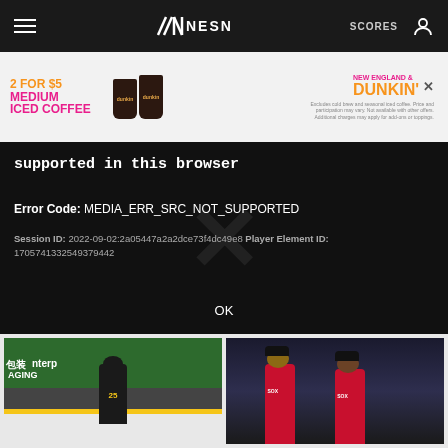NESN — SCORES
[Figure (screenshot): Dunkin Donuts advertisement banner: 2 FOR $5 MEDIUM ICED COFFEE — New England Dunkin']
supported in this browser
Error Code: MEDIA_ERR_SRC_NOT_SUPPORTED
Session ID: 2022-09-02:2a05447a2a2dce73f4dc49e8 Player Element ID: 1705741332549379442
OK
[Figure (photo): Hockey player in black and gold Bruins uniform on ice rink with arena advertising boards showing Chinese characters and Enterprise text]
[Figure (photo): Two baseball players in Boston Red Sox red uniforms standing together]